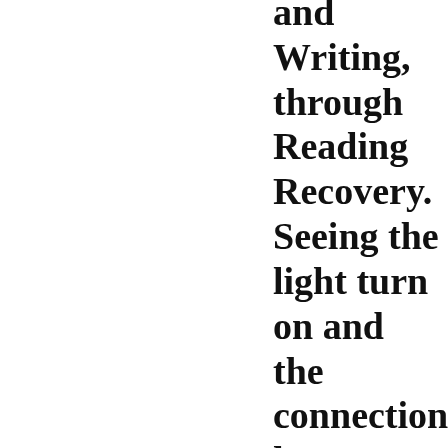and Writing, through Reading Recovery. Seeing the light turn on and the connection happen for a young reader still gives me chills to this day.